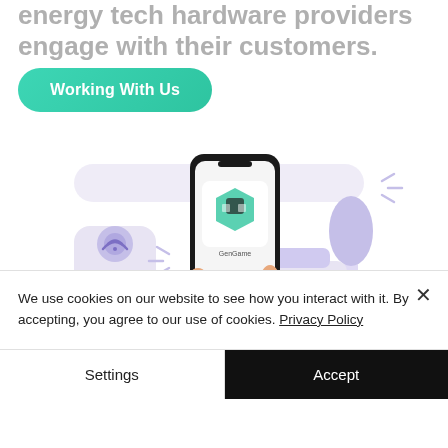energy tech hardware providers engage with their customers.
Working With Us
[Figure (illustration): Illustration of a hand holding a smartphone displaying the GenGame app logo, surrounded by a smart home device with WiFi symbol, a car, and a tree in a purple/lavender color scheme]
We use cookies on our website to see how you interact with it. By accepting, you agree to our use of cookies. Privacy Policy
Settings
Accept